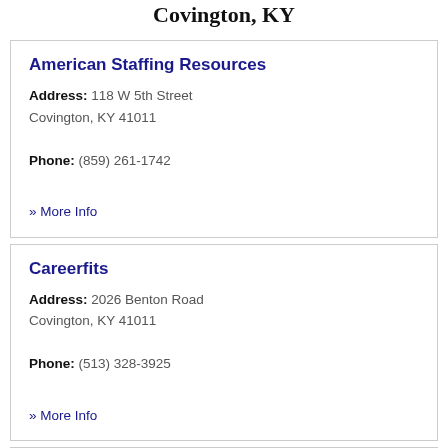Covington, KY
American Staffing Resources
Address: 118 W 5th Street
Covington, KY 41011

Phone: (859) 261-1742
» More Info
Careerfits
Address: 2026 Benton Road
Covington, KY 41011

Phone: (513) 328-3925
» More Info